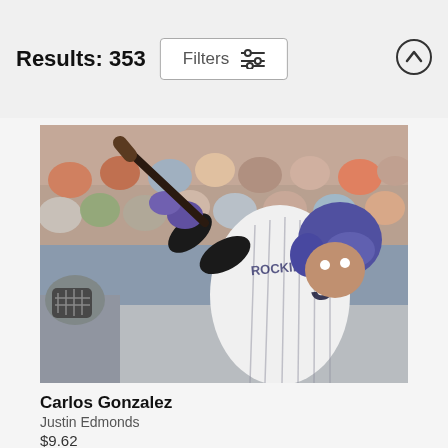Results: 353
[Figure (photo): Baseball player Carlos Gonzalez wearing Colorado Rockies jersey #5, mid-swing with a bat, wearing a blue helmet and purple batting gloves. A catcher is visible on the left. Stadium crowd visible in the background.]
Carlos Gonzalez
Justin Edmonds
$9.62